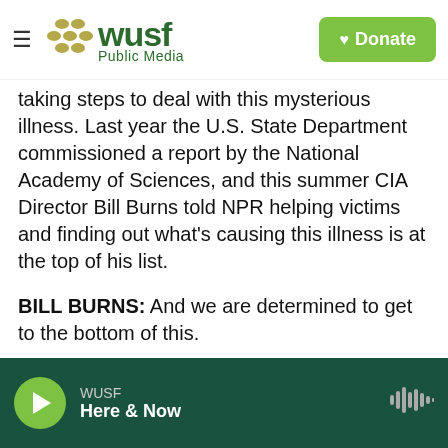WUSF Public Media — Donate
taking steps to deal with this mysterious illness. Last year the U.S. State Department commissioned a report by the National Academy of Sciences, and this summer CIA Director Bill Burns told NPR helping victims and finding out what's causing this illness is at the top of his list.
BILL BURNS: And we are determined to get to the bottom of this.
MCCAMMON: And last week President Biden signed the Havana Act, which provides financial support to diplomats and other federal officials who've suffered brain injuries on the job. Mark Zeid
WUSF — Here & Now